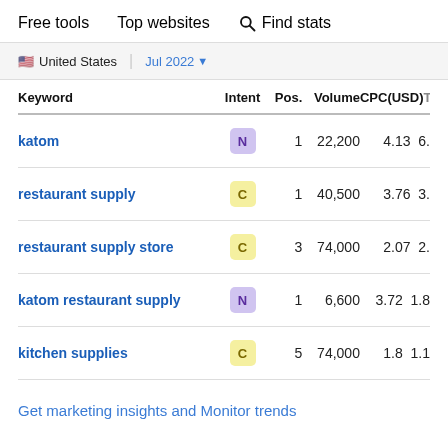Free tools   Top websites   🔍 Find stats
🇺🇸 United States  |  Jul 2022 ▾
| Keyword | Intent | Pos. | Volume | CPC(USD) Tr... |
| --- | --- | --- | --- | --- |
| katom | N | 1 | 22,200 | 4.13 | 6. |
| restaurant supply | C | 1 | 40,500 | 3.76 | 3. |
| restaurant supply store | C | 3 | 74,000 | 2.07 | 2. |
| katom restaurant supply | N | 1 | 6,600 | 3.72 | 1.8 |
| kitchen supplies | C | 5 | 74,000 | 1.8 | 1.1 |
Get marketing insights and Monitor trends